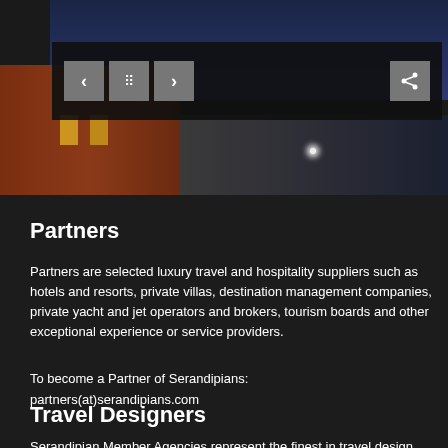[Figure (photo): Screenshot of a website showing a dark-themed travel services page. Top portion shows a building/hotel facade photograph with navigation controls (previous, grid, next) and a share button overlaid on a dark semi-transparent bar. The building appears to have warm lit windows against a twilight sky.]
Partners
Partners are selected luxury travel and hospitality suppliers such as hotels and resorts, private villas, destination management companies, private yacht and jet operators and brokers, tourism boards and other exceptional experience or service providers.
To become a Partner of Serandipians:
partners(at)serandipians.com
Travel Designers
Serandipian Member Agencies represent the finest in travel design.